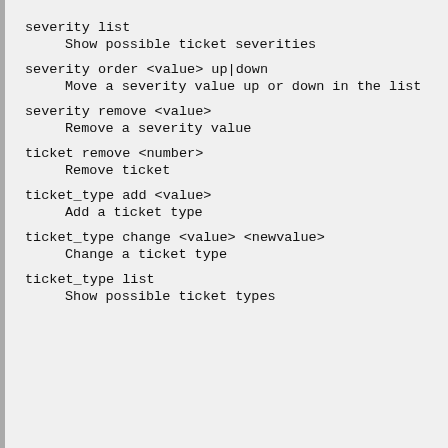severity list
    Show possible ticket severities
severity order <value> up|down
    Move a severity value up or down in the list
severity remove <value>
    Remove a severity value
ticket remove <number>
    Remove ticket
ticket_type add <value>
    Add a ticket type
ticket_type change <value> <newvalue>
    Change a ticket type
ticket_type list
    Show possible ticket types